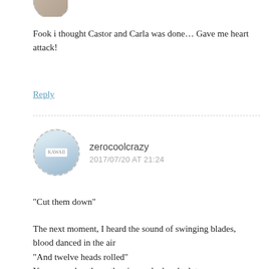[Figure (photo): Circular avatar image at the top, partially cropped]
Fook i thought Castor and Carla was done… Gave me heart attack!
Reply
zerocoolcrazy
2017/07/20 AT 21:24
“Cut them down”
The next moment, I heard the sound of swinging blades, blood danced in the air
“And twelve heads rolled”
You remember the author is good when he let you OMG with those details